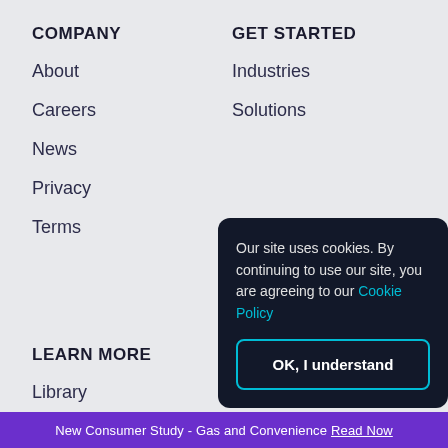COMPANY
About
Careers
News
Privacy
Terms
GET STARTED
Industries
Solutions
Our site uses cookies. By continuing to use our site, you are agreeing to our Cookie Policy
OK, I understand
LEARN MORE
Library
SUBSCRIBE
Stay fresh with the latest updates and
New Consumer Study - Gas and Convenience Read Now